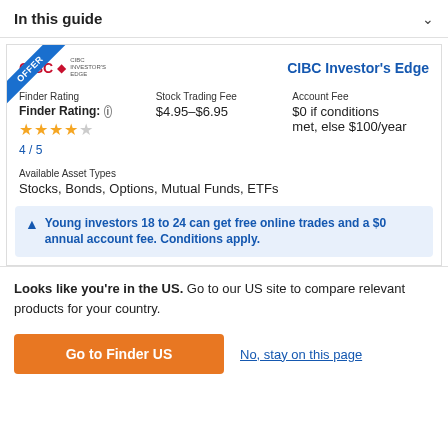In this guide
[Figure (logo): CIBC Investor's Edge logo with OFFER ribbon banner in top-left corner]
CIBC Investor's Edge
Finder Rating
Finder Rating: 4 / 5 (4 stars out of 5)
Stock Trading Fee
$4.95–$6.95
Account Fee
$0 if conditions met, else $100/year
Available Asset Types
Stocks, Bonds, Options, Mutual Funds, ETFs
Young investors 18 to 24 can get free online trades and a $0 annual account fee. Conditions apply.
Looks like you're in the US. Go to our US site to compare relevant products for your country.
Go to Finder US
No, stay on this page